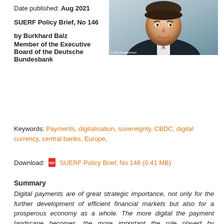Date published: Aug 2021
[Figure (photo): Portrait photo of Burkhard Balz, member of the Executive Board of the Deutsche Bundesbank, wearing a dark suit and smiling]
SUERF Policy Brief, No 146
by Burkhard Balz
Member of the Executive Board of the Deutsche Bundesbank
Keywords: Payments, digitalisation, sovereignty, CBDC, digital currency, central banks, Europe.
Download: SUERF Policy Brief, No 146 (0.41 MB)
Summary
Digital payments are of great strategic importance, not only for the further development of efficient financial markets but also for a prosperous economy as a whole. The more digital the payment landscape becomes, the more important the role played by international, non-European players. As a consequence, innovative efforts have to speed up and pan-European solutions with European